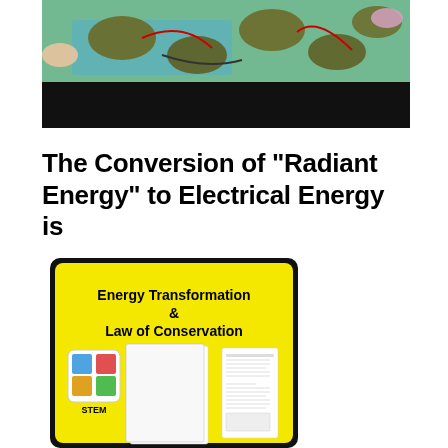[Figure (photo): A photo showing hands and potatoes connected with wires on a teal/green surface, with a black video player bar at the bottom]
The Conversion of "Radiant Energy" to Electrical Energy is
[Figure (photo): An educational product image showing 'Energy Transformation & Law of Conservation' STEM worksheet materials on a yellow background with STEM logo]